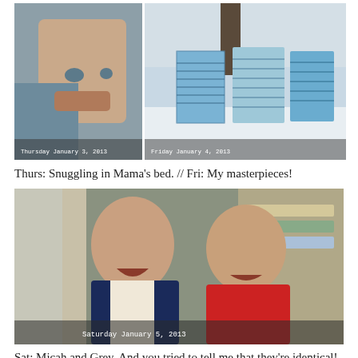[Figure (photo): Two photos side by side: left photo shows a baby/toddler close-up snuggling, with timestamp 'Thursday January 3, 2013'; right photo shows quilts/blankets displayed outside in snow against a tree, with timestamp 'Friday January 4, 2013']
Thurs: Snuggling in Mama's bed. // Fri: My masterpieces!
[Figure (photo): Photo of two young boys smiling, one in navy blazer and one in red jacket, with timestamp 'Saturday January 5, 2013']
Sat: Micah and Grey. And you tried to tell me that they're identical!